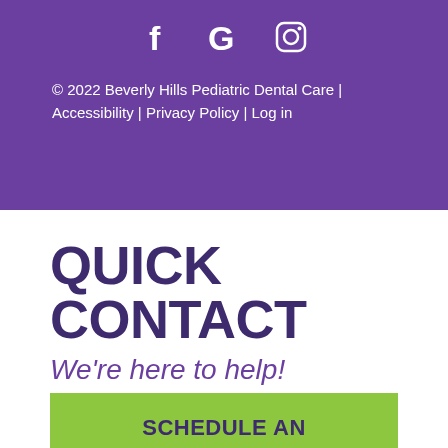[Figure (logo): Social media icons: Facebook (f), Google (G), Instagram (camera icon) in white on purple background]
© 2022 Beverly Hills Pediatric Dental Care | Accessibility | Privacy Policy | Log in
QUICK CONTACT
We're here to help!
SCHEDULE AN APPOINTMENT